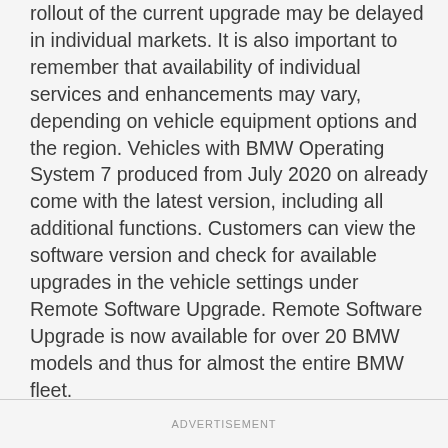rollout of the current upgrade may be delayed in individual markets. It is also important to remember that availability of individual services and enhancements may vary, depending on vehicle equipment options and the region. Vehicles with BMW Operating System 7 produced from July 2020 on already come with the latest version, including all additional functions. Customers can view the software version and check for available upgrades in the vehicle settings under Remote Software Upgrade. Remote Software Upgrade is now available for over 20 BMW models and thus for almost the entire BMW fleet.
ADVERTISEMENT